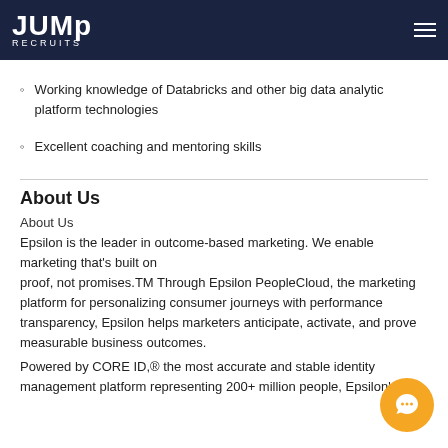JUMP RECRUITS
Working knowledge of Databricks and other big data analytic platform technologies
Excellent coaching and mentoring skills
About Us
About Us
Epsilon is the leader in outcome-based marketing. We enable marketing that's built on proof, not promises.TM Through Epsilon PeopleCloud, the marketing platform for personalizing consumer journeys with performance transparency, Epsilon helps marketers anticipate, activate, and prove measurable business outcomes.
Powered by CORE ID,® the most accurate and stable identity management platform representing 200+ million people, Epsilon's